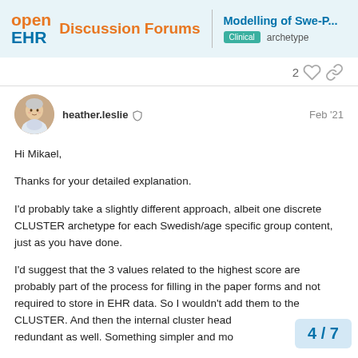openEHR Discussion Forums — Modelling of Swe-P... | Clinical archetype
2
heather.leslie  Feb '21
[Figure (photo): Avatar photo of heather.leslie, an older woman with short white hair]
Hi Mikael,

Thanks for your detailed explanation.

I'd probably take a slightly different approach, albeit one discrete CLUSTER archetype for each Swedish/age specific group content, just as you have done.

I'd suggest that the 3 values related to the highest score are probably part of the process for filling in the paper forms and not required to store in EHR data. So I wouldn't add them to the CLUSTER. And then the internal cluster head redundant as well. Something simpler and mo
4 / 7